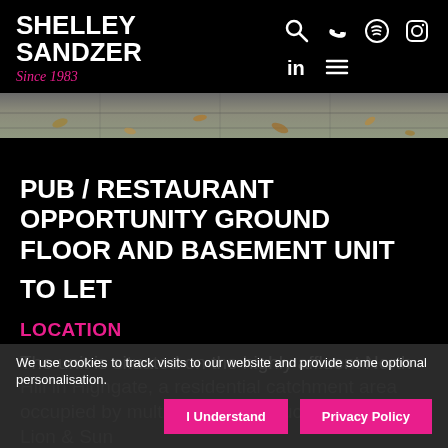SHELLEY SANDZER Since 1983
[Figure (screenshot): Navigation icons: search, phone, Spotify, Instagram, LinkedIn, menu]
[Figure (photo): Street-level photo showing pavement with autumn leaves]
PUB / RESTAURANT OPPORTUNITY GROUND FLOOR AND BASEMENT UNIT
TO LET
LOCATION
The unit is situated on the highly affluent North Hill in Highgate, a residential catchment area occupied by multi restaurants such as The Red Lion & Sun
We use cookies to track visits to our website and provide some optional personalisation.
I Understand
Privacy Policy